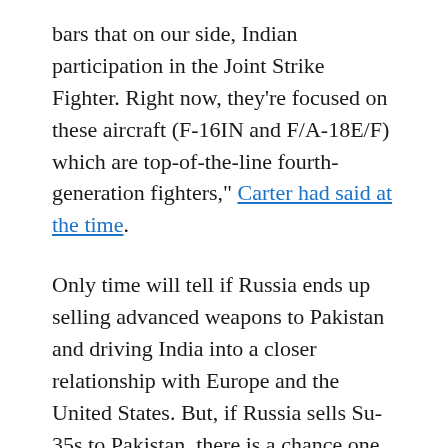bars that on our side, Indian participation in the Joint Strike Fighter. Right now, they're focused on these aircraft (F-16IN and F/A-18E/F) which are top-of-the-line fourth-generation fighters," Carter had said at the time.
Only time will tell if Russia ends up selling advanced weapons to Pakistan and driving India into a closer relationship with Europe and the United States. But, if Russia sells Su-35s to Pakistan, there is a chance one might see F-35s wearing IAF colors one day in the not so distant future.
Dave Majumdar is the defense editor for The